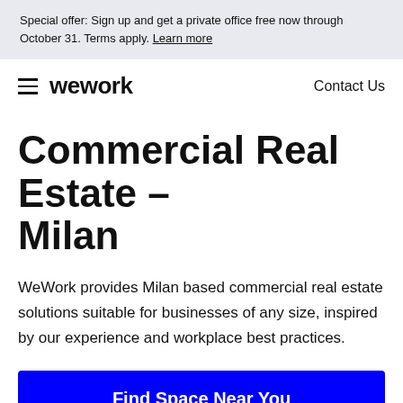Special offer: Sign up and get a private office free now through October 31. Terms apply. Learn more
wework   Contact Us
Commercial Real Estate – Milan
WeWork provides Milan based commercial real estate solutions suitable for businesses of any size, inspired by our experience and workplace best practices.
Find Space Near You